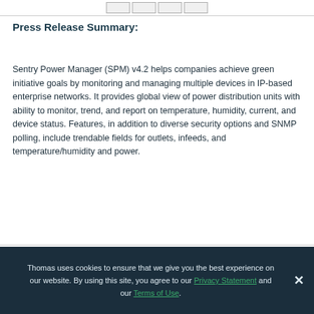[navigation buttons]
Press Release Summary:
Sentry Power Manager (SPM) v4.2 helps companies achieve green initiative goals by monitoring and managing multiple devices in IP-based enterprise networks. It provides global view of power distribution units with ability to monitor, trend, and report on temperature, humidity, current, and device status. Features, in addition to diverse security options and SNMP polling, include trendable fields for outlets, infeeds, and temperature/humidity and power.
Thomas uses cookies to ensure that we give you the best experience on our website. By using this site, you agree to our Privacy Statement and our Terms of Use.